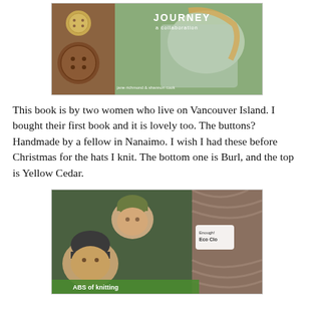[Figure (photo): Photo of the book 'Journey: a collaboration' cover showing a woman in a knitted shawl and wooden buttons on the left side]
This book is by two women who live on Vancouver Island. I bought their first book and it is lovely too. The buttons? Handmade by a fellow in Nanaimo. I wish I had these before Christmas for the hats I knit. The bottom one is Burl, and the top is Yellow Cedar.
[Figure (photo): Photo of a knitting book cover showing children wearing knitted hats, with a skein of brown yarn labeled 'Eco Cloud' beside it]